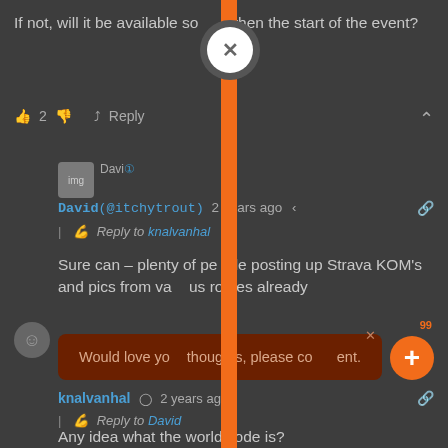[Figure (screenshot): Screenshot of a comments section on a website, showing replies between users. An orange vertical bar overlay bisects the image with a white close (X) button at the top. A dark red tooltip banner reads 'Would love your thoughts, please comment.' An orange floating plus button with a 99 notification badge is visible. Comments shown include text about Strava KOM postings and world code inquiry.]
If not, will it be available so then the start of the event?
👍 2 👎  ↩ Reply
David (@itchytrout) · 2 years ago
Reply to knalvanhal
Sure can – plenty of people posting up Strava KOM's and pics from various routes already
👍 1 👎  ↩ Reply
Would love your thoughts, please comment.
knalvanhal  ©  2 years ago
Reply to David
Any idea what the world code is?